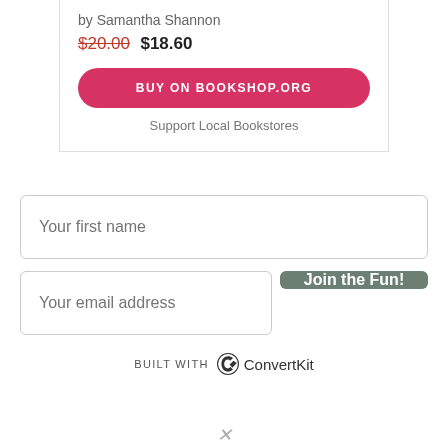by Samantha Shannon
$20.00 $18.60
BUY ON BOOKSHOP.ORG
Support Local Bookstores
Your first name
Your email address
Join the Fun!
BUILT WITH ConvertKit